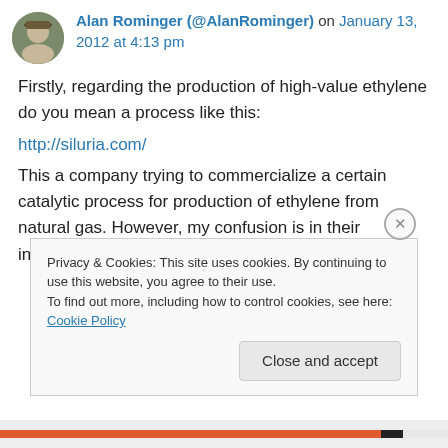Alan Rominger (@AlanRominger) on January 13, 2012 at 4:13 pm
Firstly, regarding the production of high-value ethylene do you mean a process like this:
http://siluria.com/
This a company trying to commercialize a certain catalytic process for production of ethylene from natural gas. However, my confusion is in their introductory video when they say ethylene is
Privacy & Cookies: This site uses cookies. By continuing to use this website, you agree to their use.
To find out more, including how to control cookies, see here: Cookie Policy
Close and accept